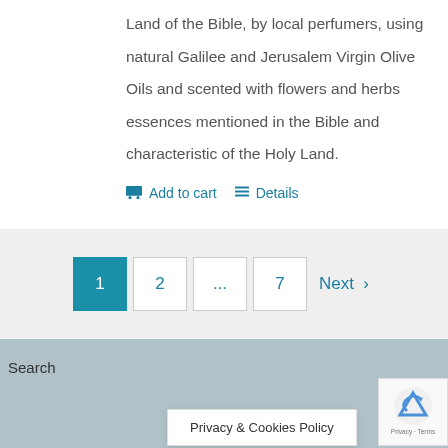Land of the Bible, by local perfumers, using natural Galilee and Jerusalem Virgin Olive Oils and scented with flowers and herbs essences mentioned in the Bible and characteristic of the Holy Land.
Add to cart   Details
1  2  ...  7  Next >
Privacy & Cookies Policy
Search